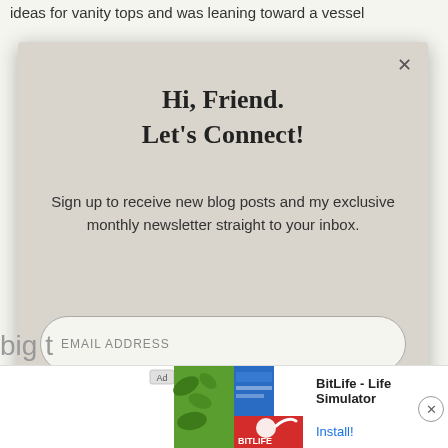ideas for vanity tops and was leaning toward a vessel
Hi, Friend.
Let's Connect!
Sign up to receive new blog posts and my exclusive monthly newsletter straight to your inbox.
EMAIL ADDRESS
FIRST NAME
Let's do it!
[Figure (screenshot): Ad banner for BitLife - Life Simulator app with green and red game imagery and Install button]
big t